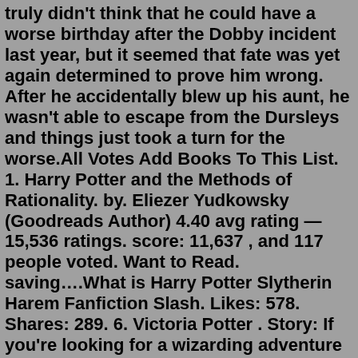truly didn't think that he could have a worse birthday after the Dobby incident last year, but it seemed that fate was yet again determined to prove him wrong. After he accidentally blew up his aunt, he wasn't able to escape from the Dursleys and things just took a turn for the worse.All Votes Add Books To This List. 1. Harry Potter and the Methods of Rationality. by. Eliezer Yudkowsky (Goodreads Author) 4.40 avg rating — 15,536 ratings. score: 11,637 , and 117 people voted. Want to Read. saving….What is Harry Potter Slytherin Harem Fanfiction Slash. Likes: 578. Shares: 289. 6. Victoria Potter . Story: If you're looking for a wizarding adventure with a strong Slytherin female lead, look no further than Victoria Potter . This fanfic follows the story of Victoria from years 1-3, and it's packed with excitement with a strong focus on magic, friendship, and boarding school life. 413 ...Mar 02, 2021 · But I Can Break You- "Voldemort figures out that Harry is his unintentional human horcrux and finds a way to infiltrate Hogwarts under Dumbledore's nose to try to get his